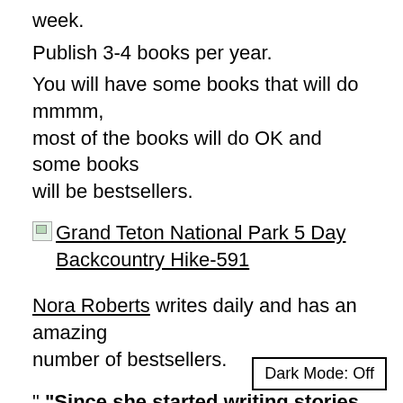week.
Publish 3-4 books per year.
You will have some books that will do mmmm, most of the books will do OK and some books will be bestsellers.
[Figure (other): Broken image icon followed by link text: Grand Teton National Park 5 Day Backcountry Hike-591]
Nora Roberts writes daily and has an amazing number of bestsellers.
“ “Since she started writing stories down in notebooks 30 years ago, Nora
Dark Mode: Off